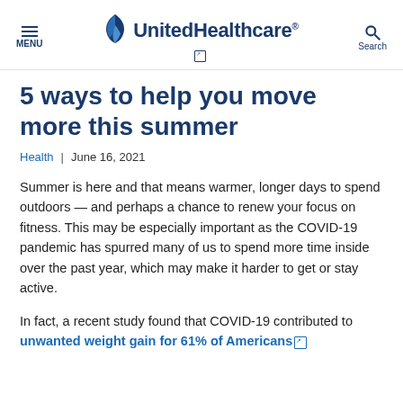MENU | UnitedHealthcare | Search
5 ways to help you move more this summer
Health  |  June 16, 2021
Summer is here and that means warmer, longer days to spend outdoors — and perhaps a chance to renew your focus on fitness. This may be especially important as the COVID-19 pandemic has spurred many of us to spend more time inside over the past year, which may make it harder to get or stay active.
In fact, a recent study found that COVID-19 contributed to unwanted weight gain for 61% of Americans